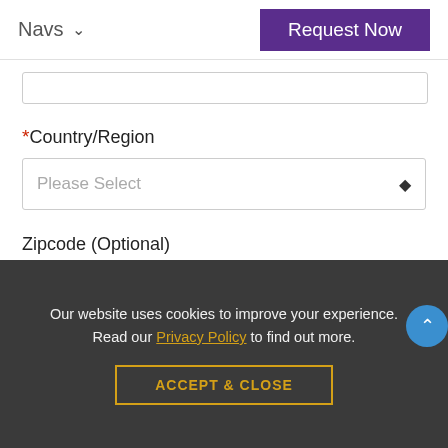Navs  Request Now
*Country/Region
Please Select
Zipcode (Optional)
Please enter Zipcode
*Your Message
Our website uses cookies to improve your experience. Read our Privacy Policy to find out more.
ACCEPT & CLOSE